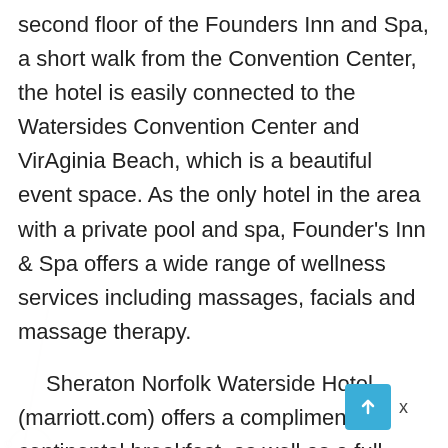second floor of the Founders Inn and Spa, a short walk from the Convention Center, the hotel is easily connected to the Watersides Convention Center and VirAginia Beach, which is a beautiful event space. As the only hotel in the area with a private pool and spa, Founder's Inn & Spa offers a wide range of wellness services including massages, facials and massage therapy.

Sheraton Norfolk Waterside Hotel (marriott.com) offers a complimentary continental breakfast, as well as a full-service restaurant, bar and fitness centre.